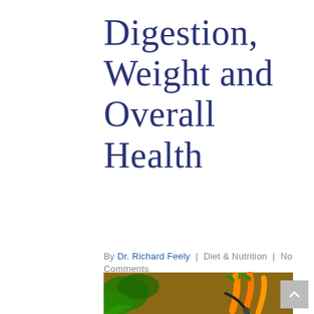Digestion, Weight and Overall Health
By Dr. Richard Feely | Diet & Nutrition | No Comments
[Figure (photo): Overhead photo of fresh vegetables (carrots, tomatoes, peppers, herbs) arranged in a wooden heart-shaped bowl on a wooden surface, alongside a stethoscope and yellow jump rope]